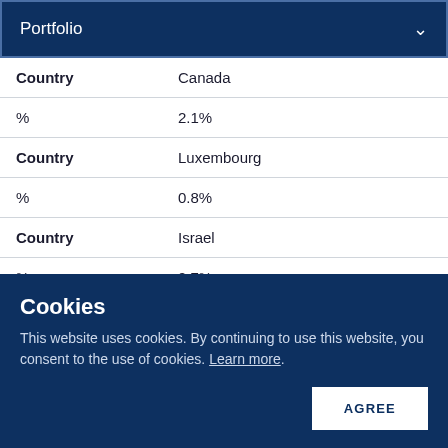Portfolio
| Field | Value |
| --- | --- |
| Country | Canada |
| % | 2.1% |
| Country | Luxembourg |
| % | 0.8% |
| Country | Israel |
| % | 0.7% |
| Country | United Kingdom |
| % | 0.6% |
Cookies
This website uses cookies. By continuing to use this website, you consent to the use of cookies. Learn more.